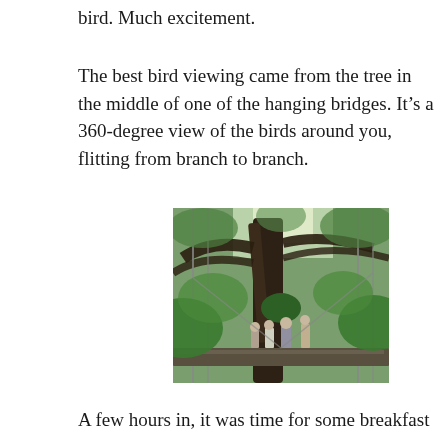bird. Much excitement.
The best bird viewing came from the tree in the middle of one of the hanging bridges. It’s a 360-degree view of the birds around you, flitting from branch to branch.
[Figure (photo): People standing on a hanging bridge in the middle of a dense rainforest canopy, with large tree trunks and lush green foliage visible overhead and around them.]
A few hours in, it was time for some breakfast